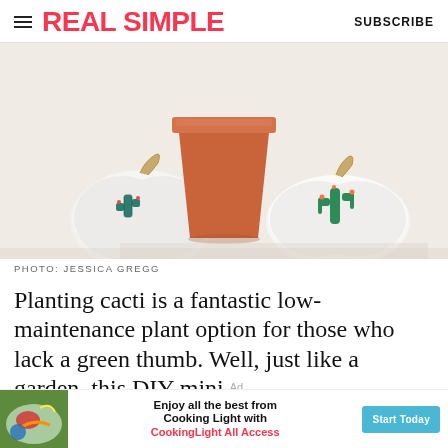REAL SIMPLE   SUBSCRIBE
[Figure (photo): Three white painted mini pumpkins with cactus designs on them, arranged with a terracotta clay pot in the center, on a white surface.]
PHOTO: JESSICA GREGG
Planting cacti is a fantastic low-maintenance plant option for those who lack a green thumb. Well, just like a garden, this DIY mini
[Figure (infographic): Advertisement banner: Enjoy all the best from Cooking Light with CookingLight All Access - Start Today button]